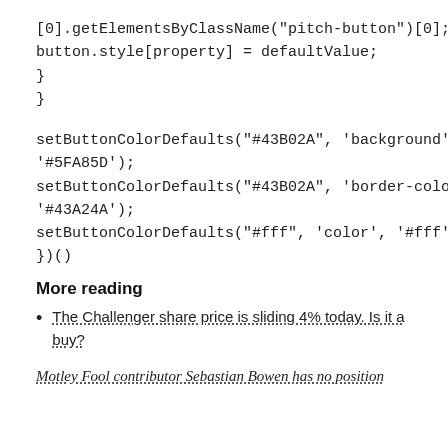[0].getElementsByClassName("pitch-button")[0];
button.style[property] = defaultValue;
}
}
setButtonColorDefaults("#43B02A", 'background', '#5FA85D');
setButtonColorDefaults("#43B02A", 'border-color', '#43A24A');
setButtonColorDefaults("#fff", 'color', '#fff');
})()
More reading
The Challenger share price is sliding 4% today. Is it a buy?
Motley Fool contributor Sebastian Bowen has no position in any of the stocks mentioned. The Motley Fool Australia...